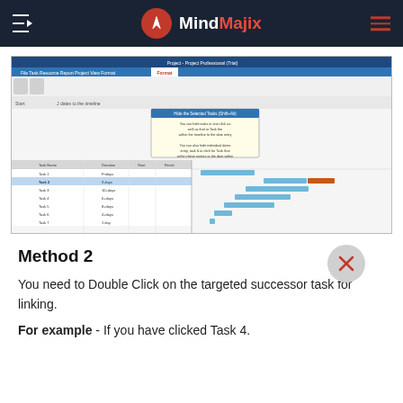MindMajix
[Figure (screenshot): Microsoft Project screenshot showing a Gantt chart with tasks (Task 1 through Task 7), a tooltip/popup about adding selected tasks to the timeline, and colored bars representing task durations on the timeline.]
Method 2
You need to Double Click on the targeted successor task for linking.
For example - If you have clicked Task 4.